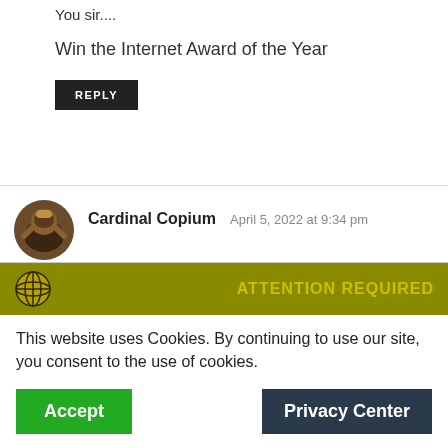You sir....
Win the Internet Award of the Year
REPLY
Cardinal Copium  April 5, 2022 at 9:34 pm
I don't think they can say 99% of balls would fail unless they tested several
ATTENTION REQUIRED
This website uses Cookies. By continuing to use our site, you consent to the use of cookies.
Accept
Privacy Center